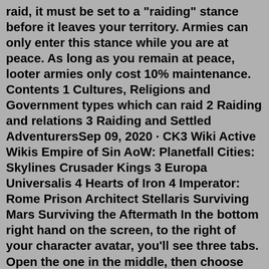raid, it must be set to a "raiding" stance before it leaves your territory. Armies can only enter this stance while you are at peace. As long as you remain at peace, looter armies only cost 10% maintenance. Contents 1 Cultures, Religions and Government types which can raid 2 Raiding and relations 3 Raiding and Settled AdventurersSep 09, 2020 · CK3 Wiki Active Wikis Empire of Sin AoW: Planetfall Cities: Skylines Crusader Kings 3 Europa Universalis 4 Hearts of Iron 4 Imperator: Rome Prison Architect Stellaris Surviving Mars Surviving the Aftermath In the bottom right hand on the screen, to the right of your character avatar, you'll see three tabs. Open the one in the middle, then choose the option at the bottom of this new tab that reads ...100+ ANGLO-SAXON NAMES. The Anglo-Saxons are considered Germanic people. These Germanic people consisted of three major tribes Jute, Angles, and Saxons. Anglo-Saxons were migrants who come from Germany in the 5th and 6th centuries. They settled themselves in England, mainly the eastern region of England. The